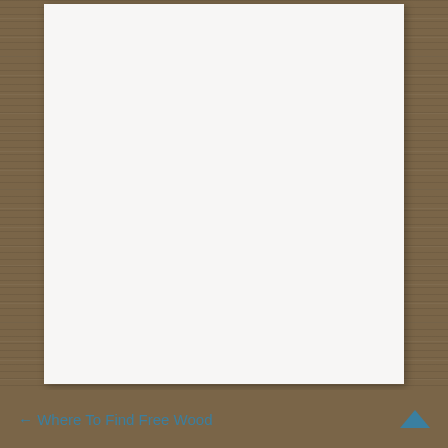[Figure (other): White/light gray content card area on a wood-grain textured background. The card is mostly empty/blank.]
← Where To Find Free Wood